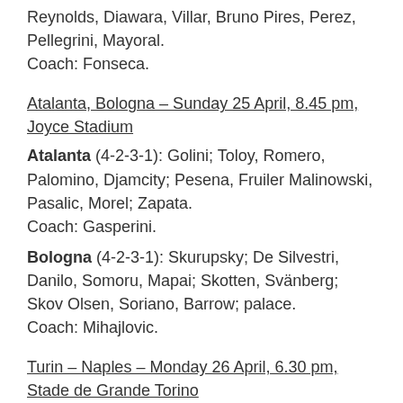Reynolds, Diawara, Villar, Bruno Pires, Perez, Pellegrini, Mayoral.
Coach: Fonseca.
Atalanta, Bologna – Sunday 25 April, 8.45 pm, Joyce Stadium
Atalanta (4-2-3-1): Golini; Toloy, Romero, Palomino, Djamcity; Pesena, Fruiler Malinowski, Pasalic, Morel; Zapata.
Coach: Gasperini.
Bologna (4-2-3-1): Skurupsky; De Silvestri, Danilo, Somoru, Mapai; Skotten, Svänberg; Skov Olsen, Soriano, Barrow; palace.
Coach: Mihajlovic.
Turin – Naples – Monday 26 April, 6.30 pm, Stade de Grande Torino